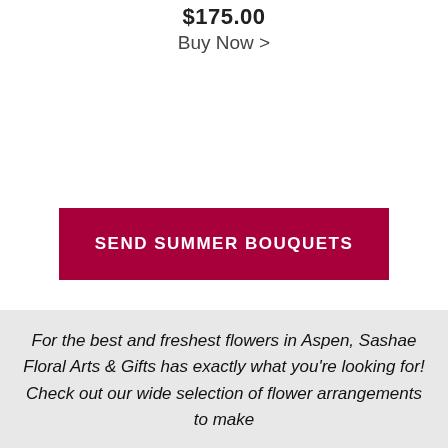$175.00
Buy Now >
SEND SUMMER BOUQUETS
For the best and freshest flowers in Aspen, Sashae Floral Arts & Gifts has exactly what you're looking for! Check out our wide selection of flower arrangements to make